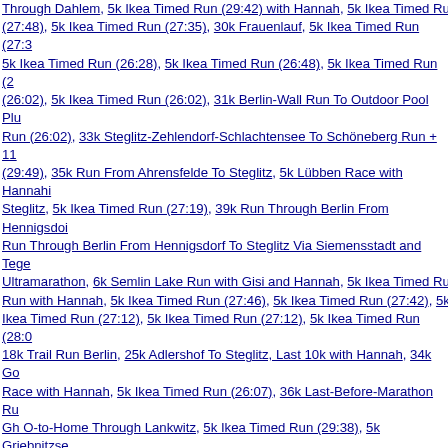Through Dahlem, 5k Ikea Timed Run (29:42) with Hannah, 5k Ikea Timed Run (27:48), 5k Ikea Timed Run (27:35), 30k Frauenlauf, 5k Ikea Timed Run (27:3x), 5k Ikea Timed Run (26:28), 5k Ikea Timed Run (26:48), 5k Ikea Timed Run (26:02), 5k Ikea Timed Run (26:02), 31k Berlin-Wall Run To Outdoor Pool Plus Run (26:02), 33k Steglitz-Zehlendorf-Schlachtensee To Schöneberg Run + 11 (29:49), 35k Run From Ahrensfelde To Steglitz, 5k Lübben Race with Hannah Steglitz, 5k Ikea Timed Run (27:19), 39k Run Through Berlin From Hennigsdorf, Run Through Berlin From Hennigsdorf To Steglitz Via Siemensstadt and Tege Ultramarathon, 6k Semlin Lake Run with Gisi and Hannah, 5k Ikea Timed Run with Hannah, 5k Ikea Timed Run (27:46), 5k Ikea Timed Run (27:42), 5k Ikea Timed Run (27:12), 5k Ikea Timed Run (27:12), 5k Ikea Timed Run (28:0x), 18k Trail Run Berlin, 25k Adlershof To Steglitz, Last 10k with Hannah, 34k Go Race with Hannah, 5k Ikea Timed Run (26:07), 36k Last-Before-Marathon Run Gh O-to-Home Through Lankwitz, 5k Ikea Timed Run (29:38), 5k Griebnitzse Ikea Timed Run (28:42 / 30:19), 5k Ikea Timed Run (27:30), 5k Ikea Timed Run (26:44), 10k with Gisi From Gho Home Via Berlin Wall Trail, 5k Spandau Win down, 5k Ikea Timed Run (26:55), 15k Run Home From Hauptbahnhof with T Timed Run (27:06), 5k Ikea Timed Run (26:57), 5k Ikea Timed Run (26:34), 5 Dreilinden To Steglitz, 5k Ikea Timed Run (26:57), 29k Steglitz-Kreuzberg-Ma Through Marienfelde, 5k Ikea Timed Run (27:41), 5k Ikea Timed Run (27:18), 10k Run with Gisi Through Marienfelde, 21k Teltow-Lichterfelde Half Maratho Timed Run (27:25), 15k Lichterfelde-Kanal Run with Gisi, 5k Ikea Timed Run (28:10), 21k Teltow-Lichterfelde Half Marathon, Clockwise (02:10:39), 5k Ikea Lichterfelde Half Marathon, Counter-clockwise (02:07:54), 11k with 5k Ikea Ti Kreuzberg To Steglitz Run, 11k with 5k Ikea Timed Run (26:52), 21k After-Wo Marathon Clockwise (02:24:08), 5k Run To Power Gymnastics and Back, 30k 5k with Hannah, 12k with 5k Ikea Timed Run (26:58), 11k with 5k Ikea Timed Timed Run (26:56), 5k Tegel Jedermannlauf with Hannah, 21k Teltow-Lichter Counter-clockwise (02:23:15), 21k Wittstock Half Marathon (01:58:26), 7k Lic Hannah, 11k with 5k Ikea Timed Run (26:50), 21k After-Work Teltow-Lichtfe (02:23:35), 11k with 5k Ikea Timed Run (27:27), Potsdam Schlösserlauf Half 5k Ikea Timed Run (27:34), 11k with 5k Ikea Timed Run (27:45), 2022 Berlina